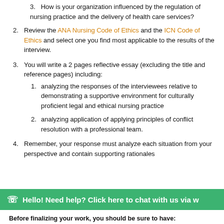3. How is your organization influenced by the regulation of nursing practice and the delivery of health care services?
2. Review the ANA Nursing Code of Ethics and the ICN Code of Ethics and select one you find most applicable to the results of the interview.
3. You will write a 2 pages reflective essay (excluding the title and reference pages) including:
1. analyzing the responses of the interviewees relative to demonstrating a supportive environment for culturally proficient legal and ethical nursing practice
2. analyzing application of applying principles of conflict resolution with a professional team.
4. Remember, your response must analyze each situation from your perspective and contain supporting rationales
Hello! Need help? Click here to chat with us via w
Before finalizing your work, you should be sure to have: